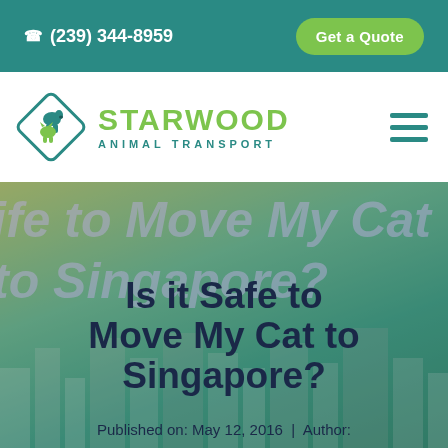(239) 344-8959  |  Get a Quote
[Figure (logo): Starwood Animal Transport logo with diamond shape containing dog and cat silhouettes, green 'STARWOOD' text and teal 'ANIMAL TRANSPORT' subtext]
[Figure (photo): Hero image with Singapore cityscape background, faded italic text reading 'ife to Move My Cat to Singapore?' overlaid, with main bold title 'Is it Safe to Move My Cat to Singapore?' and published info at bottom]
Is it Safe to Move My Cat to Singapore?
Published on: May 12, 2016  |  Author: